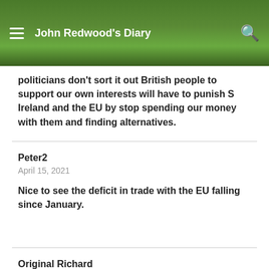John Redwood's Diary
politicians don't sort it out British people to support our own interests will have to punish S Ireland and the EU by stop spending our money with them and finding alternatives.
Peter2
April 15, 2021
Nice to see the deficit in trade with the EU falling since January.
Original Richard
April 15, 2021